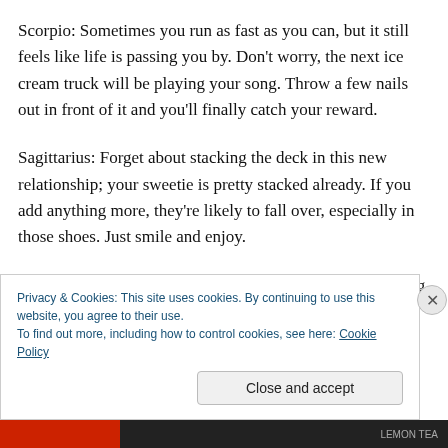Scorpio: Sometimes you run as fast as you can, but it still feels like life is passing you by. Don't worry, the next ice cream truck will be playing your song. Throw a few nails out in front of it and you'll finally catch your reward.
Sagittarius: Forget about stacking the deck in this new relationship; your sweetie is pretty stacked already. If you add anything more, they're likely to fall over, especially in those shoes. Just smile and enjoy.
Capricorn: You don't want answers, you just enjoy sneaking up on the questions and wrestling them down
Privacy & Cookies: This site uses cookies. By continuing to use this website, you agree to their use.
To find out more, including how to control cookies, see here: Cookie Policy
Close and accept